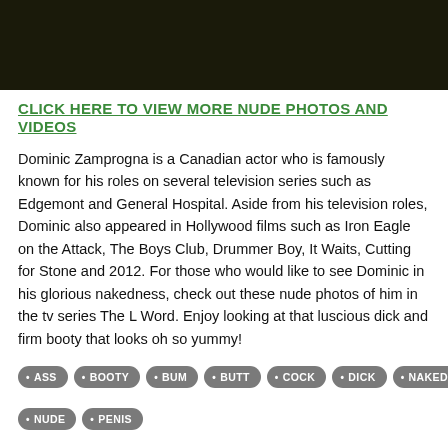[Figure (photo): Dark cinematic photo strip at the top of the page]
CLICK HERE TO VIEW MORE NUDE PHOTOS AND VIDEOS
Dominic Zamprogna is a Canadian actor who is famously known for his roles on several television series such as Edgemont and General Hospital. Aside from his television roles, Dominic also appeared in Hollywood films such as Iron Eagle on the Attack, The Boys Club, Drummer Boy, It Waits, Cutting for Stone and 2012. For those who would like to see Dominic in his glorious nakedness, check out these nude photos of him in the tv series The L Word. Enjoy looking at that luscious dick and firm booty that looks oh so yummy!
ASS
BOOTY
BUM
BUTT
COCK
DICK
NAKED
NUDE
PENIS